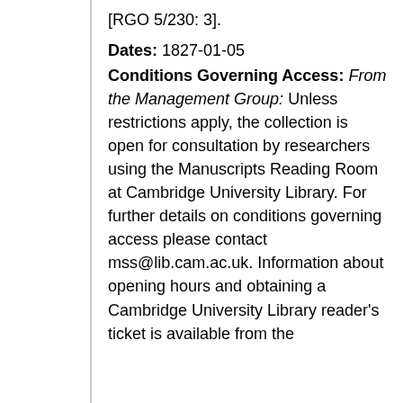[RGO 5/230: 3].
Dates: 1827-01-05
Conditions Governing Access: From the Management Group: Unless restrictions apply, the collection is open for consultation by researchers using the Manuscripts Reading Room at Cambridge University Library. For further details on conditions governing access please contact mss@lib.cam.ac.uk. Information about opening hours and obtaining a Cambridge University Library reader's ticket is available from the